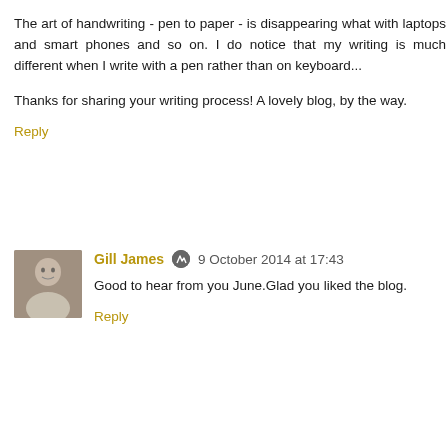The art of handwriting - pen to paper - is disappearing what with laptops and smart phones and so on. I do notice that my writing is much different when I write with a pen rather than on keyboard...
Thanks for sharing your writing process! A lovely blog, by the way.
Reply
Gill James  9 October 2014 at 17:43
Good to hear from you June.Glad you liked the blog.
Reply